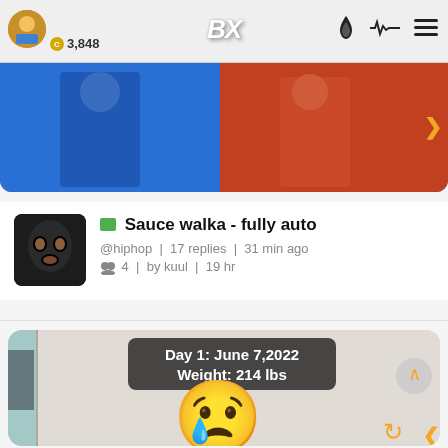BX | 3,848
[Figure (screenshot): Top partial image showing people in colored clothing, cropped view]
📺 Sauce walka - fully auto
@hiphop | 17 replies | 31 min ago
👥 4 | by kuul | 19 hr
[Figure (photo): Mirror selfie photo with overlay text: Day 1: June 7,2022 / Weight: 214 lbs, face covered by crying emoji sticker]